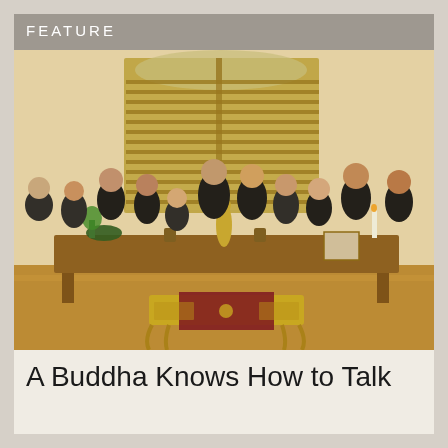FEATURE
[Figure (photo): A group of approximately eleven people dressed in dark robes/clothing standing behind a wooden altar table with Buddhist statues, flowers, candles, and ritual objects. They are in a meditation hall with wooden louvered windows and warm natural light.]
A Buddha Knows How to Talk